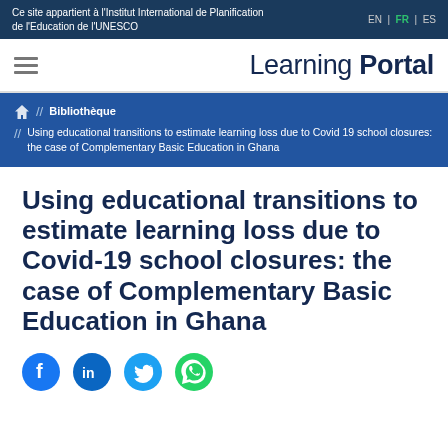Ce site appartient à l'Institut International de Planification de l'Education de l'UNESCO
EN | FR | ES
Learning Portal
// Bibliothèque // Using educational transitions to estimate learning loss due to Covid 19 school closures: the case of Complementary Basic Education in Ghana
Using educational transitions to estimate learning loss due to Covid-19 school closures: the case of Complementary Basic Education in Ghana
[Figure (infographic): Social sharing icons: Facebook, LinkedIn, Twitter, WhatsApp]